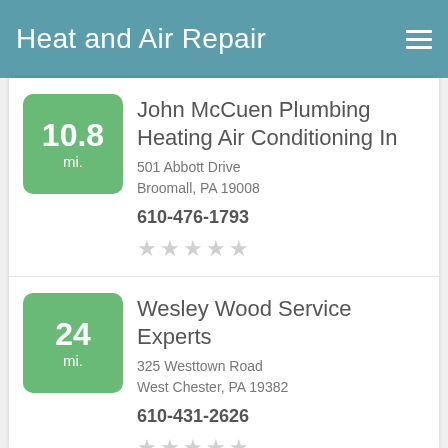Heat and Air Repair
10.8 mi. — John McCuen Plumbing Heating Air Conditioning In
501 Abbott Drive
Broomall, PA 19008
610-476-1793
24 mi. — Wesley Wood Service Experts
325 Westtown Road
West Chester, PA 19382
610-431-2626